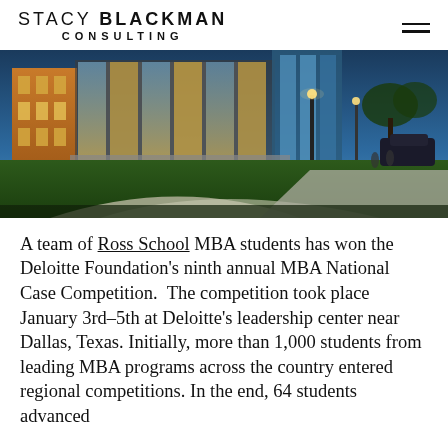STACY BLACKMAN CONSULTING
[Figure (photo): Exterior photo of a modern university building at dusk/twilight, featuring glass facades with warm interior lighting, a green lawn in the foreground, a concrete walkway, and street lights.]
A team of Ross School MBA students has won the Deloitte Foundation's ninth annual MBA National Case Competition.  The competition took place January 3rd-5th at Deloitte's leadership center near Dallas, Texas. Initially, more than 1,000 students from leading MBA programs across the country entered regional competitions. In the end, 64 students advanced